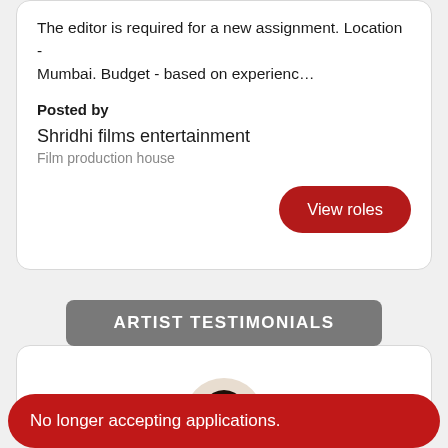The editor is required for a new assignment. Location - Mumbai. Budget - based on experienc…
Posted by
Shridhi films entertainment
Film production house
View roles
ARTIST TESTIMONIALS
[Figure (photo): Circular avatar showing top of a person's head with dark hair against a beige background]
No longer accepting applications.